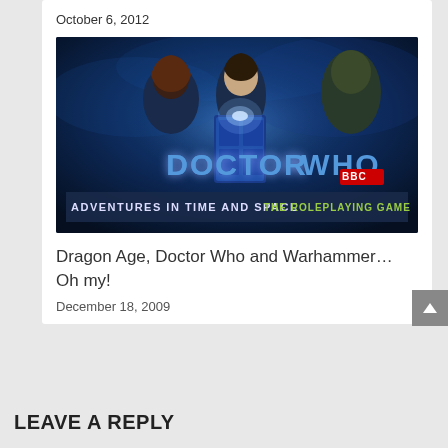October 6, 2012
[Figure (photo): Doctor Who Adventures in Time and Space The Roleplaying Game promotional image featuring the Doctor, a female companion, and an alien creature, with 'DOCTOR WHO' in large blue letters and 'ADVENTURES IN TIME AND SPACE THE ROLEPLAYING GAME' below, BBC logo visible]
Dragon Age, Doctor Who and Warhammer... Oh my!
December 18, 2009
LEAVE A REPLY